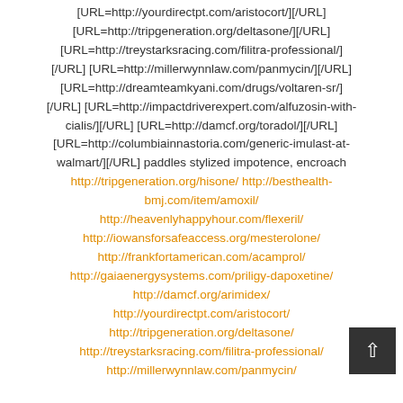[URL=http://yourdirectpt.com/aristocort/][/URL] [URL=http://tripgeneration.org/deltasone/][/URL] [URL=http://treystarksracing.com/filitra-professional/][/URL] [URL=http://millerwynnlaw.com/panmycin/][/URL] [URL=http://dreamteamkyani.com/drugs/voltaren-sr/][/URL] [URL=http://impactdriverexpert.com/alfuzosin-with-cialis/][/URL] [URL=http://damcf.org/toradol/][/URL] [URL=http://columbiainnastoria.com/generic-imulast-at-walmart/][/URL] paddles stylized impotence, encroach http://tripgeneration.org/hisone/ http://besthealth-bmj.com/item/amoxil/ http://heavenlyhappyhour.com/flexeril/ http://iowansforsafeaccess.org/mesterolone/ http://frankfortamerican.com/acamprol/ http://gaiaenergysystems.com/priligy-dapoxetine/ http://damcf.org/arimidex/ http://yourdirectpt.com/aristocort/ http://tripgeneration.org/deltasone/ http://treystarksracing.com/filitra-professional/ http://millerwynnlaw.com/panmycin/